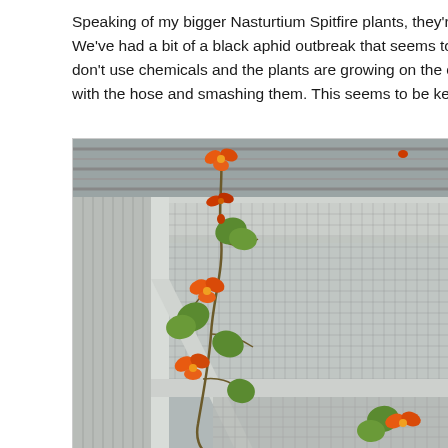Speaking of my bigger Nasturtium Spitfire plants, they're still gr We've had a bit of a black aphid outbreak that seems to be doir don't use chemicals and the plants are growing on the chicken with the hose and smashing them. This seems to be keeping th
[Figure (photo): A Nasturtium Spitfire plant with bright orange flowers climbing up through wire mesh fencing/chicken wire structure with white wooden frame, photographed from below looking up.]